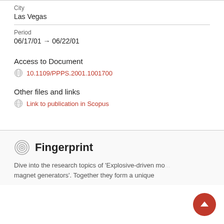City
Las Vegas
Period
06/17/01 → 06/22/01
Access to Document
10.1109/PPPS.2001.1001700
Other files and links
Link to publication in Scopus
Fingerprint
Dive into the research topics of 'Explosive-driven magnet generators'. Together they form a unique